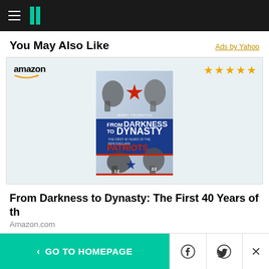HuffPost navigation bar with hamburger menu and logo
You May Also Like
Ads by Yahoo
[Figure (photo): Amazon ad card showing book cover 'From Darkness to Dynasty: The First 40 Years of the New England Patriots' by Jerry Thornton, with 5 gold star rating]
From Darkness to Dynasty: The First 40 Years of th
Amazon.com
< GO TO HOMEPAGE | Facebook share | Twitter share | Close